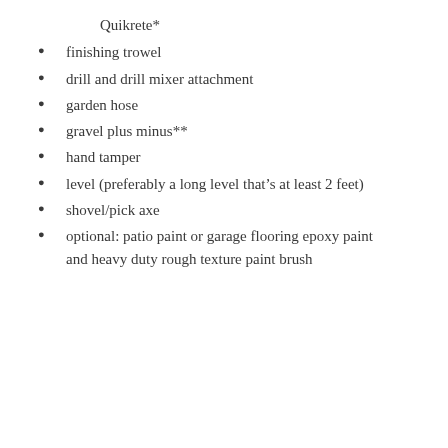Quikrete*
finishing trowel
drill and drill mixer attachment
garden hose
gravel plus minus**
hand tamper
level (preferably a long level that’s at least 2 feet)
shovel/pick axe
optional: patio paint or garage flooring epoxy paint and heavy duty rough texture paint brush